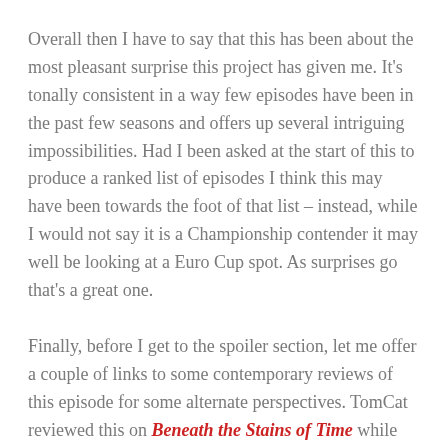Overall then I have to say that this has been about the most pleasant surprise this project has given me. It's tonally consistent in a way few episodes have been in the past few seasons and offers up several intriguing impossibilities. Had I been asked at the start of this to produce a ranked list of episodes I think this may have been towards the foot of that list – instead, while I would not say it is a Championship contender it may well be looking at a Euro Cup spot. As surprises go that's a great one.
Finally, before I get to the spoiler section, let me offer a couple of links to some contemporary reviews of this episode for some alternate perspectives. TomCat reviewed this on Beneath the Stains of Time while the Puzzle Doctor shared thoughts on In Search of the Classic Crime Novel.